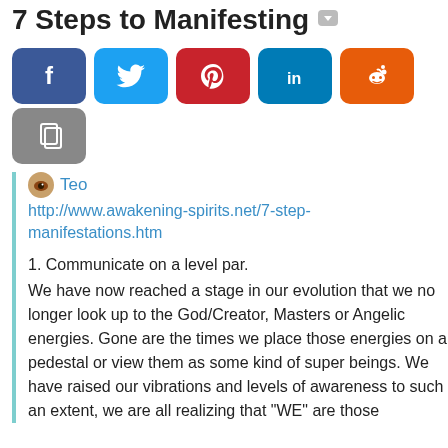7 Steps to Manifesting
[Figure (infographic): Social media share buttons: Facebook, Twitter, Pinterest, LinkedIn, Reddit, and a copy button]
Teo
http://www.awakening-spirits.net/7-step-manifestations.htm
1. Communicate on a level par.
We have now reached a stage in our evolution that we no longer look up to the God/Creator, Masters or Angelic energies. Gone are the times we place those energies on a pedestal or view them as some kind of super beings. We have raised our vibrations and levels of awareness to such an extent, we are all realizing that "WE" are those